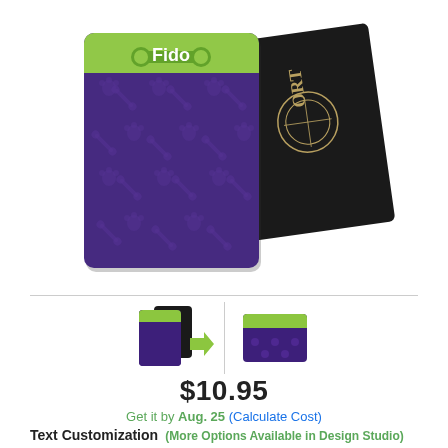[Figure (photo): Product photo showing a purple passport holder with paw print and bone pattern, green stripe with 'Fido' text, alongside a black passport]
[Figure (photo): Two small thumbnail images of the passport holder product]
$10.95
Get it by Aug. 25 (Calculate Cost)
Text Customization (More Options Available in Design Studio)